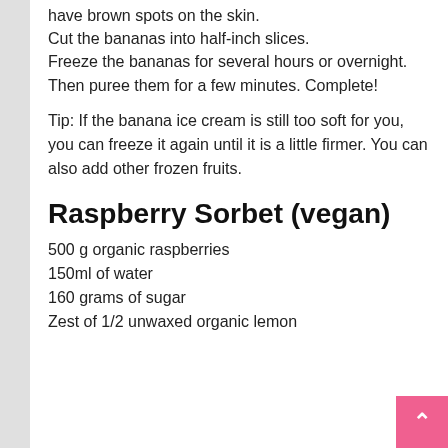have brown spots on the skin.
Cut the bananas into half-inch slices.
Freeze the bananas for several hours or overnight.
Then puree them for a few minutes. Complete!
Tip: If the banana ice cream is still too soft for you, you can freeze it again until it is a little firmer. You can also add other frozen fruits.
Raspberry Sorbet (vegan)
500 g organic raspberries
150ml of water
160 grams of sugar
Zest of 1/2 unwaxed organic lemon